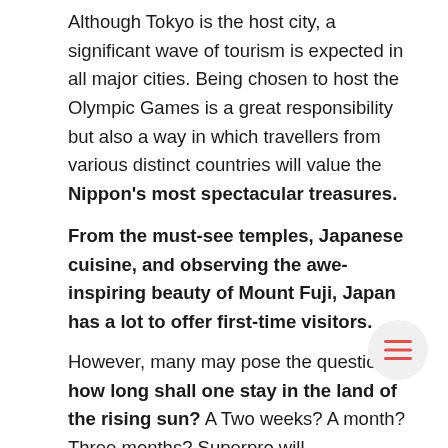Although Tokyo is the host city, a significant wave of tourism is expected in all major cities. Being chosen to host the Olympic Games is a great responsibility but also a way in which travellers from various distinct countries will value the Nippon's most spectacular treasures.
From the must-see temples, Japanese cuisine, and observing the awe-inspiring beauty of Mount Fuji, Japan has a lot to offer first-time visitors.
However, many may pose the question: how long shall one stay in the land of the rising sun? A Two weeks? A month? Three months? Superpro will provide curious travellers with the answer.